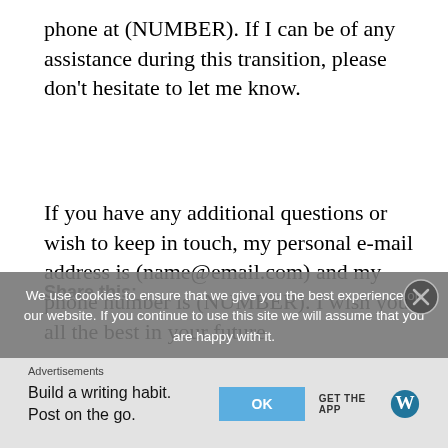phone at (NUMBER). If I can be of any assistance during this transition, please don't hesitate to let me know.
If you have any additional questions or wish to keep in touch, my personal e-mail address is (name@email.com) and my phone number is (NUMBER). I wish you all the best in your future.
Sincerely,
(NAME)
We use cookies to ensure that we give you the best experience on our website. If you continue to use this site we will assume that you are happy with it.
Share this:
Advertisements
Build a writing habit. Post on the go.